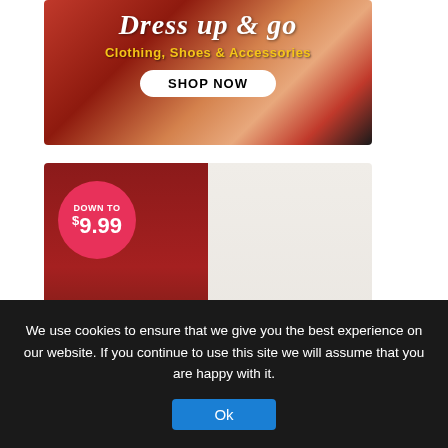[Figure (illustration): Fashion advertisement banner reading 'Dress up & go' with subtitle 'Clothing, Shoes & Accessories' and a 'SHOP NOW' button. Background shows people in colorful outfits.]
[Figure (illustration): Rosegal menswear advertisement showing two male models. Left side has red background with 'DOWN TO $9.99' circle badge and 'MENSWEAR' text. Right side shows the Rosegal logo on light background.]
We use cookies to ensure that we give you the best experience on our website. If you continue to use this site we will assume that you are happy with it.
Ok